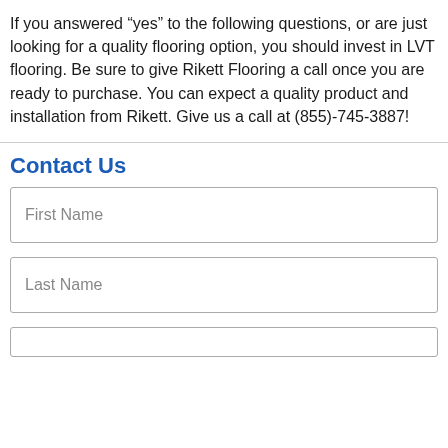If you answered “yes” to the following questions, or are just looking for a quality flooring option, you should invest in LVT flooring. Be sure to give Rikett Flooring a call once you are ready to purchase. You can expect a quality product and installation from Rikett. Give us a call at (855)-745-3887!
Contact Us
First Name
Last Name